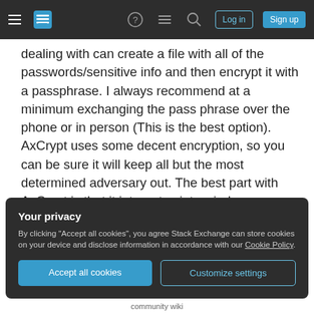Stack Exchange navigation bar with hamburger menu, logo, help, chat, search icons, Log in and Sign up buttons
dealing with can create a file with all of the passwords/sensitive info and then encrypt it with a passphrase. I always recommend at a minimum exchanging the pass phrase over the phone or in person (This is the best option). AxCrypt uses some decent encryption, so you can be sure it will keep all but the most determined adversary out. The best part with AxCrypt is that it integrates into windows as an explorer extension. In windows explorer all you need to do is right click on the file to encrypt it/decrypt it/
Your privacy
By clicking “Accept all cookies”, you agree Stack Exchange can store cookies on your device and disclose information in accordance with our Cookie Policy.
Accept all cookies
Customize settings
community wiki